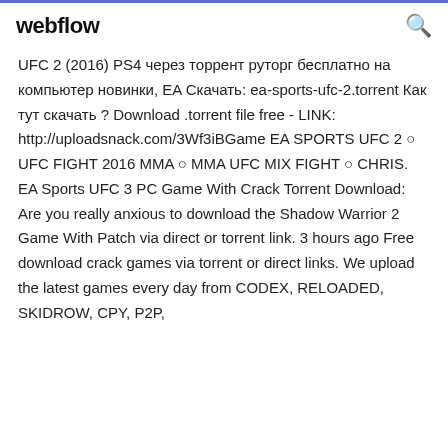webflow
UFC 2 (2016) PS4 через торрент руторг бесплатно на компьютер новинки, EA Скачать: ea-sports-ufc-2.torrent Как тут скачать ? Download .torrent file free - LINK: http://uploadsnack.com/3Wf3iBGame EA SPORTS UFC 2 ○ UFC FIGHT 2016 MMA ○ MMA UFC MIX FIGHT ○ CHRIS. EA Sports UFC 3 PC Game With Crack Torrent Download: Are you really anxious to download the Shadow Warrior 2 Game With Patch via direct or torrent link. 3 hours ago Free download crack games via torrent or direct links. We upload the latest games every day from CODEX, RELOADED, SKIDROW, CPY, P2P,